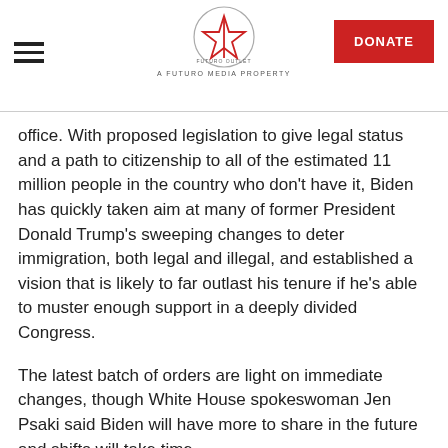A FUTURO MEDIA PROPERTY
office. With proposed legislation to give legal status and a path to citizenship to all of the estimated 11 million people in the country who don't have it, Biden has quickly taken aim at many of former President Donald Trump's sweeping changes to deter immigration, both legal and illegal, and established a vision that is likely to far outlast his tenure if he's able to muster enough support in a deeply divided Congress.
The latest batch of orders are light on immediate changes, though White House spokeswoman Jen Psaki said Biden will have more to share in the future and shifts will take time.